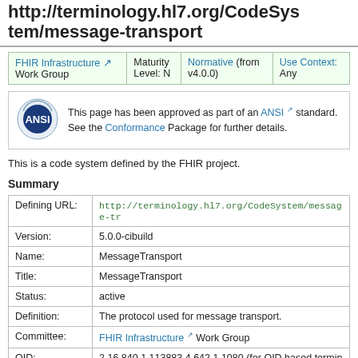http://terminology.hl7.org/CodeSystem/message-transport
| Work Group | Maturity Level | Normative | Use Context |
| --- | --- | --- | --- |
| FHIR Infrastructure Work Group | Maturity Level: N | Normative (from v4.0.0) | Use Context: Any |
This page has been approved as part of an ANSI standard. See the Conformance Package for further details.
This is a code system defined by the FHIR project.
Summary
| Field | Value |
| --- | --- |
| Defining URL: | http://terminology.hl7.org/CodeSystem/message-tr |
| Version: | 5.0.0-cibuild |
| Name: | MessageTransport |
| Title: | MessageTransport |
| Status: | active |
| Definition: | The protocol used for message transport. |
| Committee: | FHIR Infrastructure Work Group |
| OID: | 2.16.840.1.113883.4.642.1.1080 (for OID based terminology systems) |